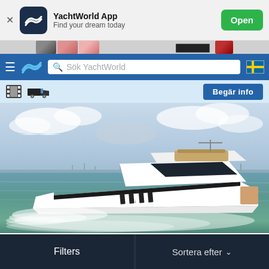[Figure (screenshot): YachtWorld app install banner with dark navy app icon showing a stylized wave/chevron logo, app name 'YachtWorld App', subtitle 'Find your dream today', and a green 'Open' button]
[Figure (screenshot): Thin strip showing partial profile images and red logo elements from the website header above the navigation bar]
[Figure (screenshot): Blue navigation bar with hamburger menu, YachtWorld wave logo, search bar with placeholder text 'Sök YachtWorld', and Swedish flag icon]
[Figure (screenshot): Light blue sub-bar with film strip icon, truck icon on left, and partially visible blue 'Begär info' button on right]
[Figure (photo): Photo of a white luxury motor yacht cruising on green-blue water with a cloudy sky backdrop and city skyline in the distance]
Filters
Sortera efter